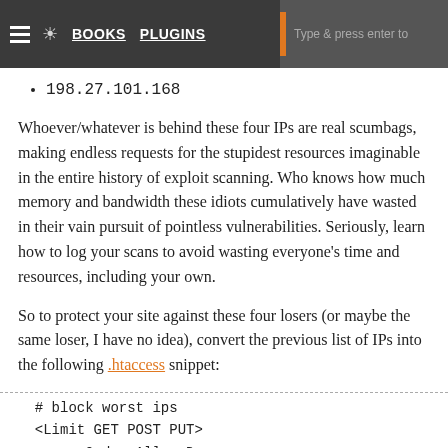≡ ☀ BOOKS PLUGINS | Type & press enter to
198.27.101.168
Whoever/whatever is behind these four IPs are real scumbags, making endless requests for the stupidest resources imaginable in the entire history of exploit scanning. Who knows how much memory and bandwidth these idiots cumulatively have wasted in their vain pursuit of pointless vulnerabilities. Seriously, learn how to log your scans to avoid wasting everyone's time and resources, including your own.
So to protect your site against these four losers (or maybe the same loser, I have no idea), convert the previous list of IPs into the following .htaccess snippet:
# block worst ips
<Limit GET POST PUT>
        Order Allow,Deny